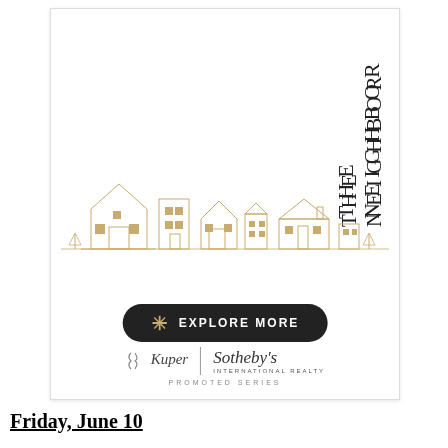[Figure (illustration): Advertisement card for 'The Neighborhood' promoted series by Kuper Sotheby's International Realty, featuring a vertical text title, skyline illustration of houses in gold and outline style, an 'Explore More' button, and the Kuper Sotheby's logo.]
Friday, June 10